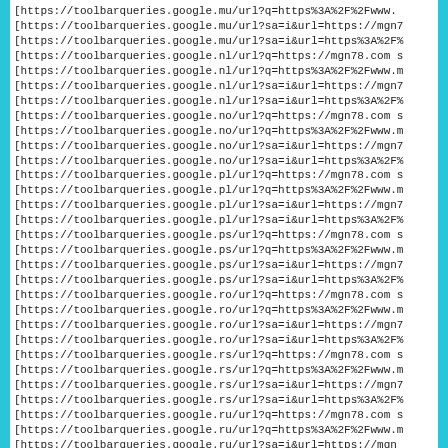[https://toolbarqueries.google.mu/url?q=https%3A%2F%2Fwww...
[https://toolbarqueries.google.mu/url?sa=i&url=https://mgn7...
[https://toolbarqueries.google.mu/url?sa=i&url=https%3A%2F%...
[https://toolbarqueries.google.nl/url?q=https://mgn78.com s...
[https://toolbarqueries.google.nl/url?q=https%3A%2F%2Fwww.m...
[https://toolbarqueries.google.nl/url?sa=i&url=https://mgn7...
[https://toolbarqueries.google.nl/url?sa=i&url=https%3A%2F%...
[https://toolbarqueries.google.no/url?q=https://mgn78.com s...
[https://toolbarqueries.google.no/url?q=https%3A%2F%2Fwww.m...
[https://toolbarqueries.google.no/url?sa=i&url=https://mgn7...
[https://toolbarqueries.google.no/url?sa=i&url=https%3A%2F%...
[https://toolbarqueries.google.pl/url?q=https://mgn78.com s...
[https://toolbarqueries.google.pl/url?q=https%3A%2F%2Fwww.m...
[https://toolbarqueries.google.pl/url?sa=i&url=https://mgn7...
[https://toolbarqueries.google.pl/url?sa=i&url=https%3A%2F%...
[https://toolbarqueries.google.ps/url?q=https://mgn78.com s...
[https://toolbarqueries.google.ps/url?q=https%3A%2F%2Fwww.m...
[https://toolbarqueries.google.ps/url?sa=i&url=https://mgn7...
[https://toolbarqueries.google.ps/url?sa=i&url=https%3A%2F%...
[https://toolbarqueries.google.ro/url?q=https://mgn78.com s...
[https://toolbarqueries.google.ro/url?q=https%3A%2F%2Fwww.m...
[https://toolbarqueries.google.ro/url?sa=i&url=https://mgn7...
[https://toolbarqueries.google.ro/url?sa=i&url=https%3A%2F%...
[https://toolbarqueries.google.rs/url?q=https://mgn78.com s...
[https://toolbarqueries.google.rs/url?q=https%3A%2F%2Fwww.m...
[https://toolbarqueries.google.rs/url?sa=i&url=https://mgn7...
[https://toolbarqueries.google.rs/url?sa=i&url=https%3A%2F%...
[https://toolbarqueries.google.ru/url?q=https://mgn78.com s...
[https://toolbarqueries.google.ru/url?q=https%3A%2F%2Fwww.m...
[https://toolbarqueries.google.ru/url?sa=i&url=https://mgn...